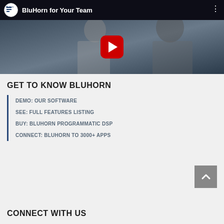[Figure (screenshot): YouTube video thumbnail for 'BluHorn for Your Team' with play button, showing two people in a business setting]
GET TO KNOW BLUHORN
DEMO: OUR SOFTWARE
SEE: FULL FEATURES LISTING
BUY: BLUHORN PROGRAMMATIC DSP
CONNECT: BLUHORN TO 3000+ APPS
CONNECT WITH US